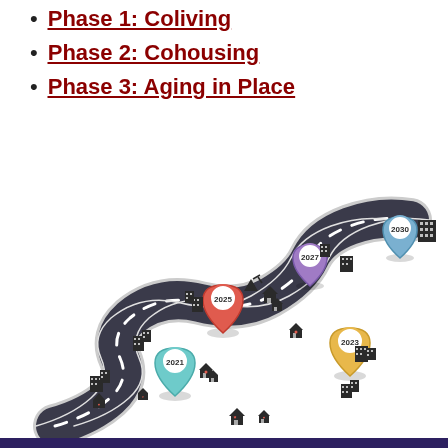Phase 1: Coliving
Phase 2: Cohousing
Phase 3: Aging in Place
[Figure (infographic): A winding road map infographic showing a timeline with milestones at years 2021 (teal pin), 2023 (yellow pin), 2025 (red pin), 2027 (purple pin), and 2030 (blue pin), with building and house icons along the road.]